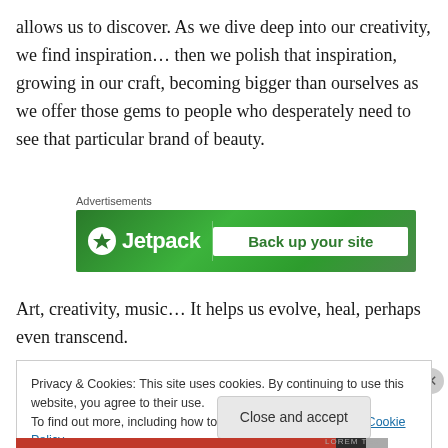allows us to discover. As we dive deep into our creativity, we find inspiration… then we polish that inspiration, growing in our craft, becoming bigger than ourselves as we offer those gems to people who desperately need to see that particular brand of beauty.
[Figure (other): Jetpack advertisement banner with green background showing Jetpack logo and 'Back up your site' call-to-action button]
Art, creativity, music… It helps us evolve, heal, perhaps even transcend.
Privacy & Cookies: This site uses cookies. By continuing to use this website, you agree to their use.
To find out more, including how to control cookies, see here: Cookie Policy
Close and accept